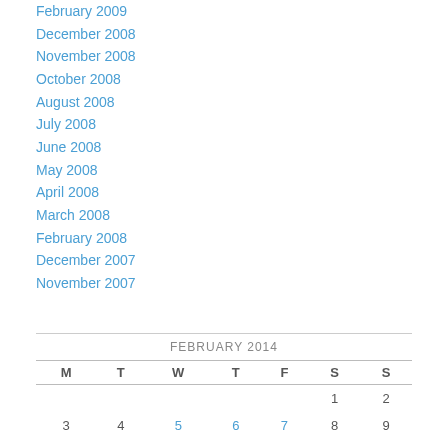February 2009
December 2008
November 2008
October 2008
August 2008
July 2008
June 2008
May 2008
April 2008
March 2008
February 2008
December 2007
November 2007
| M | T | W | T | F | S | S |
| --- | --- | --- | --- | --- | --- | --- |
|  |  |  |  |  | 1 | 2 |
| 3 | 4 | 5 | 6 | 7 | 8 | 9 |